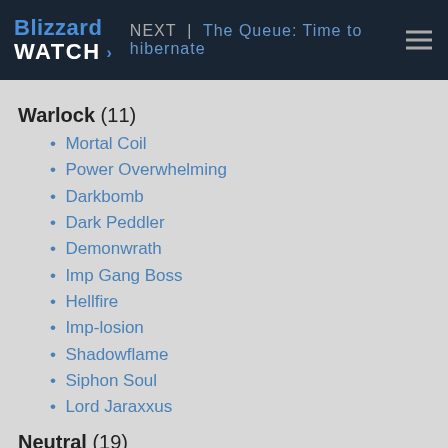Blizzard Watch | NEXT | The Queue: Time to hibernate
Warlock (11)
Mortal Coil
Power Overwhelming
Darkbomb
Dark Peddler
Demonwrath
Imp Gang Boss
Hellfire
Imp-losion
Shadowflame
Siphon Soul
Lord Jaraxxus
Neutral (19)
Abusive Sergeant
Zombie Chow